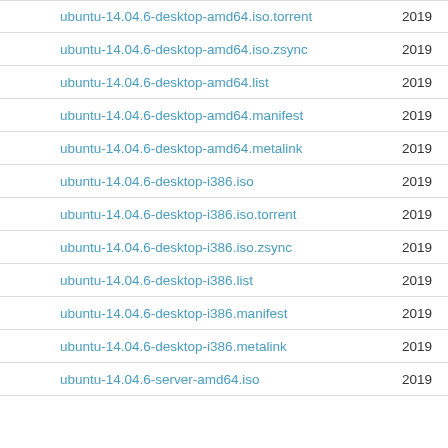ubuntu-14.04.6-desktop-amd64.iso.torrent  2019
ubuntu-14.04.6-desktop-amd64.iso.zsync  2019
ubuntu-14.04.6-desktop-amd64.list  2019
ubuntu-14.04.6-desktop-amd64.manifest  2019
ubuntu-14.04.6-desktop-amd64.metalink  2019
ubuntu-14.04.6-desktop-i386.iso  2019
ubuntu-14.04.6-desktop-i386.iso.torrent  2019
ubuntu-14.04.6-desktop-i386.iso.zsync  2019
ubuntu-14.04.6-desktop-i386.list  2019
ubuntu-14.04.6-desktop-i386.manifest  2019
ubuntu-14.04.6-desktop-i386.metalink  2019
ubuntu-14.04.6-server-amd64.iso  2019